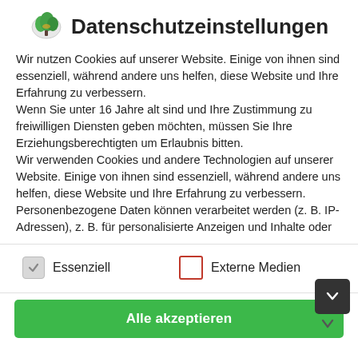Datenschutzeinstellungen
Wir nutzen Cookies auf unserer Website. Einige von ihnen sind essenziell, während andere uns helfen, diese Website und Ihre Erfahrung zu verbessern.
Wenn Sie unter 16 Jahre alt sind und Ihre Zustimmung zu freiwilligen Diensten geben möchten, müssen Sie Ihre Erziehungsberechtigten um Erlaubnis bitten.
Wir verwenden Cookies und andere Technologien auf unserer Website. Einige von ihnen sind essenziell, während andere uns helfen, diese Website und Ihre Erfahrung zu verbessern. Personenbezogene Daten können verarbeitet werden (z. B. IP-Adressen), z. B. für personalisierte Anzeigen und Inhalte oder
Essenziell
Externe Medien
denouncing pleasure
Section Mistaken idea of